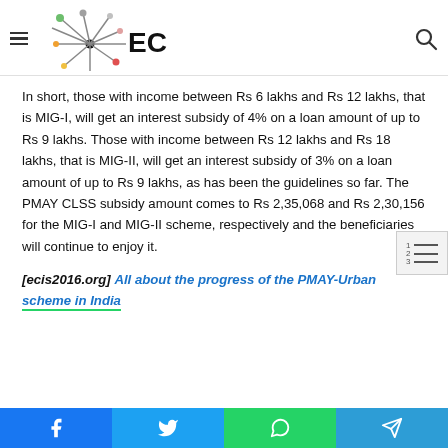ECIS
In short, those with income between Rs 6 lakhs and Rs 12 lakhs, that is MIG-I, will get an interest subsidy of 4% on a loan amount of up to Rs 9 lakhs. Those with income between Rs 12 lakhs and Rs 18 lakhs, that is MIG-II, will get an interest subsidy of 3% on a loan amount of up to Rs 9 lakhs, as has been the guidelines so far. The PMAY CLSS subsidy amount comes to Rs 2,35,068 and Rs 2,30,156 for the MIG-I and MIG-II scheme, respectively and the beneficiaries will continue to enjoy it.
[ecis2016.org] All about the progress of the PMAY-Urban scheme in India